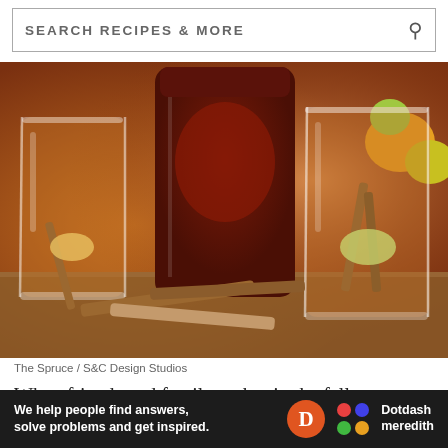SEARCH RECIPES & MORE
[Figure (photo): Autumn white wine sangria served in stemless glasses with cinnamon sticks on a wooden board, with a large pitcher in the background and colorful fruits on the right side.]
The Spruce / S&C Design Studios
When friends and family gather in the fall, serve them our warm and inviting autumn white wine sangria. It's a easy choice for Thanksgiving.
We help people find answers, solve problems and get inspired.
[Figure (logo): Dotdash Meredith logo with colorful dot pattern and wordmark on dark background]